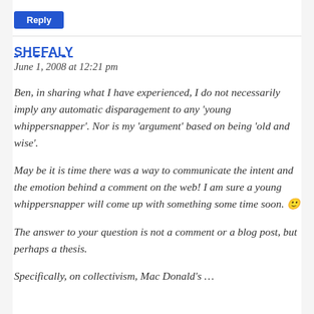Reply
SHEFALY
June 1, 2008 at 12:21 pm
Ben, in sharing what I have experienced, I do not necessarily imply any automatic disparagement to any ‘young whippersnapper’. Nor is my ‘argument’ based on being ‘old and wise’.
May be it is time there was a way to communicate the intent and the emotion behind a comment on the web! I am sure a young whippersnapper will come up with something some time soon. 🙂
The answer to your question is not a comment or a blog post, but perhaps a thesis.
Specifically, on collectivism, Mac Donald’s …